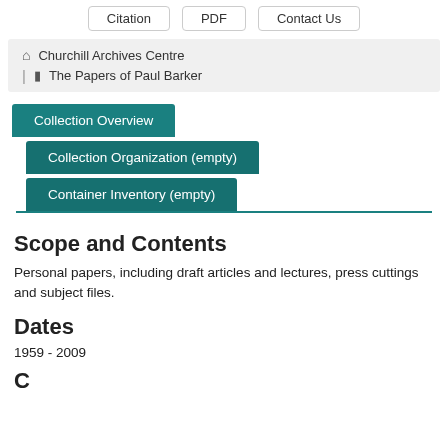Citation  PDF  Contact Us
Churchill Archives Centre | The Papers of Paul Barker
Collection Overview
Collection Organization (empty)
Container Inventory (empty)
Scope and Contents
Personal papers, including draft articles and lectures, press cuttings and subject files.
Dates
1959 - 2009
C